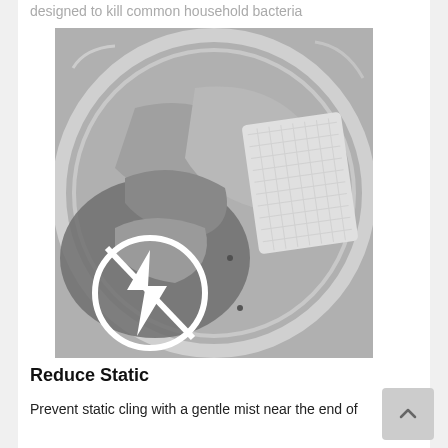designed to kill common household bacteria
[Figure (photo): Grayscale photo of laundry inside a washing machine drum, with a fabric sheet/dryer sheet visible, and a white 'no static' symbol (lightning bolt in a circle with a line through it) overlaid in the bottom left corner.]
Reduce Static
Prevent static cling with a gentle mist near the end of